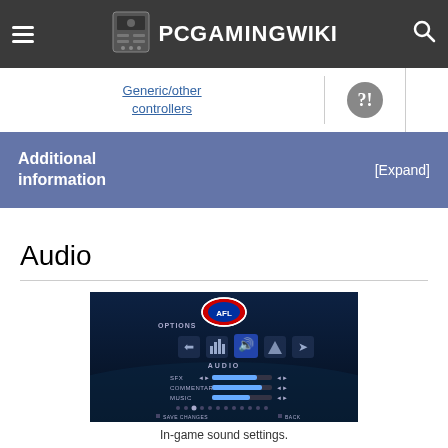PCGamingWiki
Generic/other controllers
Additional information [Expand]
Audio
[Figure (screenshot): In-game audio options screen from AFL game showing SFX, Commentary, and Music sliders with AFL logo at top]
In-game sound settings.